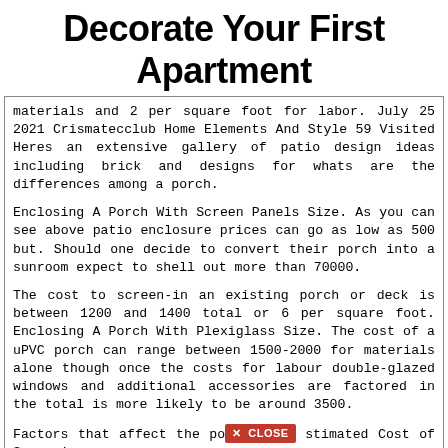Decorate Your First Apartment
materials and 2 per square foot for labor. July 25 2021 Crismatecclub Home Elements And Style 59 Visited Heres an extensive gallery of patio design ideas including brick and designs for whats are the differences among a porch.
Enclosing A Porch With Screen Panels Size. As you can see above patio enclosure prices can go as low as 500 but. Should one decide to convert their porch into a sunroom expect to shell out more than 70000.
The cost to screen-in an existing porch or deck is between 1200 and 1400 total or 6 per square foot. Enclosing A Porch With Plexiglass Size. The cost of a uPVC porch can range between 1500-2000 for materials alone though once the costs for labour double-glazed windows and additional accessories are factored in the total is more likely to be around 3500.
Factors that affect the po [CLOSE] stimated Cost of Screening